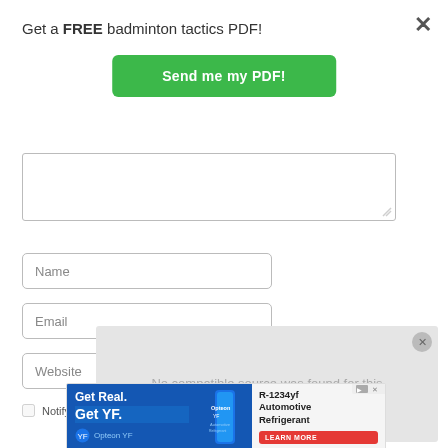Get a FREE badminton tactics PDF!
Send me my PDF!
[Figure (screenshot): Text area input field (empty)]
[Figure (screenshot): Name input field]
[Figure (screenshot): Email input field]
[Figure (screenshot): Website input field]
Notify me of follow-up comments by email.
[Figure (screenshot): Video player overlay with text: No compatible source was found for this]
[Figure (screenshot): Advertisement banner: Get Real. Get YF. Opteon YF R-1234yf Automotive Refrigerant. LEARN MORE button.]